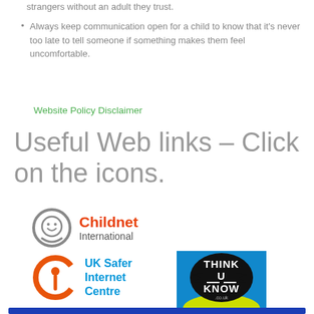strangers without an adult they trust.
Always keep communication open for a child to know that it's never too late to tell someone if something makes them feel uncomfortable.
Website Policy Disclaimer
Useful Web links – Click on the icons.
[Figure (logo): Childnet International logo — circular smiley face icon in grey with orange and grey text]
[Figure (logo): UK Safer Internet Centre logo — orange power button icon with blue text]
[Figure (logo): Think U Know logo — black splat on blue/yellow background with white text]